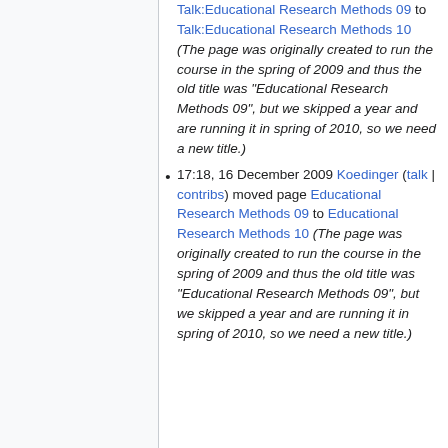Talk:Educational Research Methods 09 to Talk:Educational Research Methods 10 (The page was originally created to run the course in the spring of 2009 and thus the old title was "Educational Research Methods 09", but we skipped a year and are running it in spring of 2010, so we need a new title.)
17:18, 16 December 2009 Koedinger (talk | contribs) moved page Educational Research Methods 09 to Educational Research Methods 10 (The page was originally created to run the course in the spring of 2009 and thus the old title was "Educational Research Methods 09", but we skipped a year and are running it in spring of 2010, so we need a new title.)